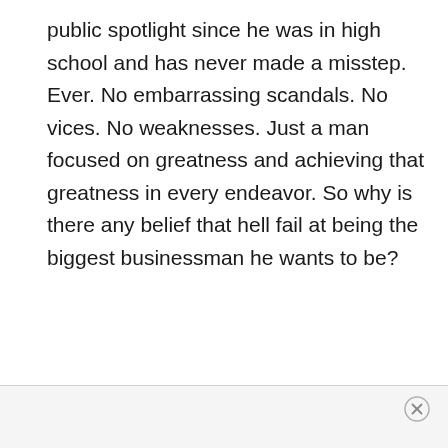public spotlight since he was in high school and has never made a misstep. Ever. No embarrassing scandals. No vices. No weaknesses. Just a man focused on greatness and achieving that greatness in every endeavor. So why is there any belief that hell fail at being the biggest businessman he wants to be?